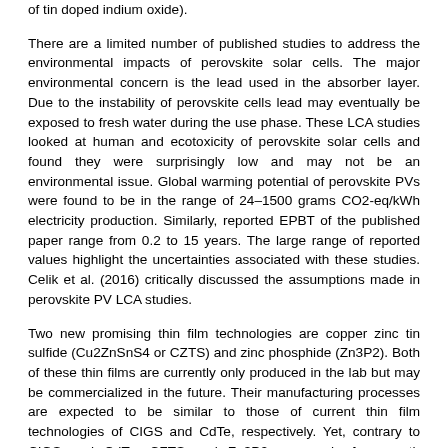of tin doped indium oxide).
There are a limited number of published studies to address the environmental impacts of perovskite solar cells. The major environmental concern is the lead used in the absorber layer. Due to the instability of perovskite cells lead may eventually be exposed to fresh water during the use phase. These LCA studies looked at human and ecotoxicity of perovskite solar cells and found they were surprisingly low and may not be an environmental issue. Global warming potential of perovskite PVs were found to be in the range of 24–1500 grams CO2-eq/kWh electricity production. Similarly, reported EPBT of the published paper range from 0.2 to 15 years. The large range of reported values highlight the uncertainties associated with these studies. Celik et al. (2016) critically discussed the assumptions made in perovskite PV LCA studies.
Two new promising thin film technologies are copper zinc tin sulfide (Cu2ZnSnS4 or CZTS) and zinc phosphide (Zn3P2). Both of these thin films are currently only produced in the lab but may be commercialized in the future. Their manufacturing processes are expected to be similar to those of current thin film technologies of CIGS and CdTe, respectively. Yet, contrary to CIGS and CdTe, CZTS and Zn3P2 are made from earth abundant, nontoxic materials and have the potential to produce more electricity annually than the current worldwide consumption.[69][70] While CZTS and Zn3P2 offer good